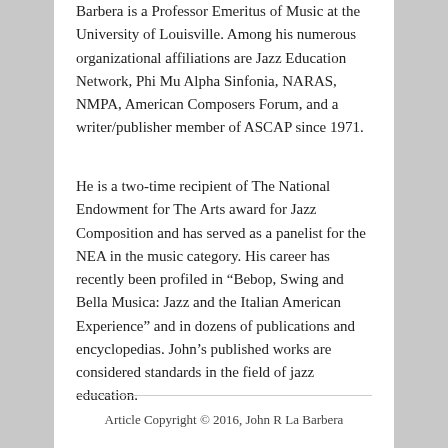Barbera is a Professor Emeritus of Music at the University of Louisville. Among his numerous organizational affiliations are Jazz Education Network, Phi Mu Alpha Sinfonia, NARAS, NMPA, American Composers Forum, and a writer/publisher member of ASCAP since 1971.
He is a two-time recipient of The National Endowment for The Arts award for Jazz Composition and has served as a panelist for the NEA in the music category. His career has recently been profiled in “Bebop, Swing and Bella Musica: Jazz and the Italian American Experience” and in dozens of publications and encyclopedias. John’s published works are considered standards in the field of jazz education.
Article Copyright © 2016, John R La Barbera